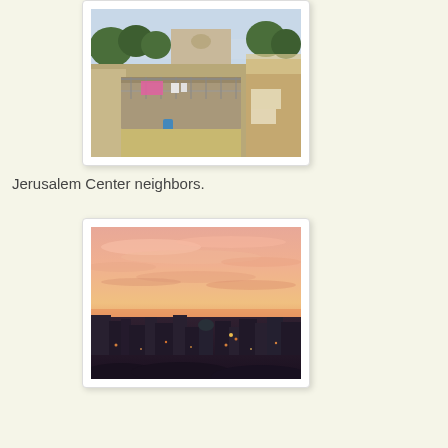[Figure (photo): Aerial/rooftop view of Jerusalem neighborhood with buildings, rooftops, laundry hanging, trees, and city skyline in background]
Jerusalem Center neighbors.
[Figure (photo): Sunset view over Jerusalem cityscape with dramatic pink and orange sky, silhouetted buildings and hills in foreground]